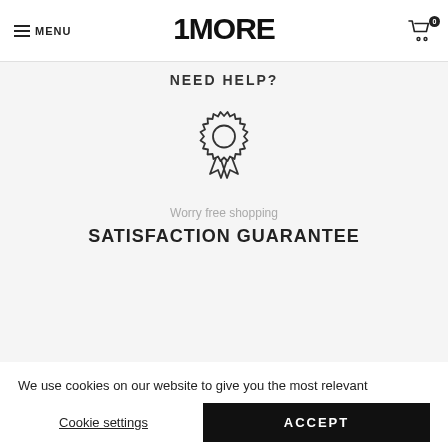MENU | 1MORE | 0
NEED HELP?
[Figure (illustration): Award/badge ribbon icon outline style]
Worry free shopping
SATISFACTION GUARANTEE
We use cookies on our website to give you the most relevant experience by remembering your preferences and repeat visits. By clicking "Accept", you consent to the use of ALL the cookies. However you may visit Cookie Settings to provide a controlled consent. Read Our Policy.
Cookie settings | ACCEPT